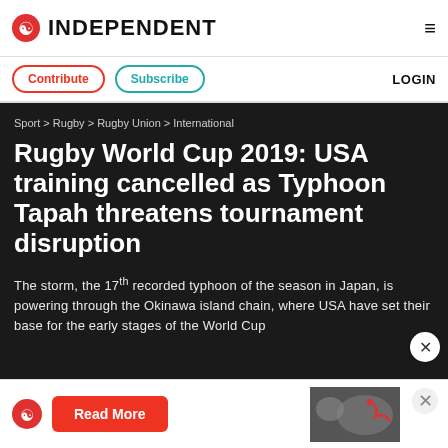INDEPENDENT
Contribute  Subscribe  LOGIN
Sport > Rugby > Rugby Union > International
Rugby World Cup 2019: USA training cancelled as Typhoon Tapah threatens tournament disruption
The storm, the 17th recorded typhoon of the season in Japan, is powering through the Okinawa island chain, where USA have set their base for the early stages of the World Cup
[Figure (logo): Independent newspaper logo with red eagle icon]
Read More